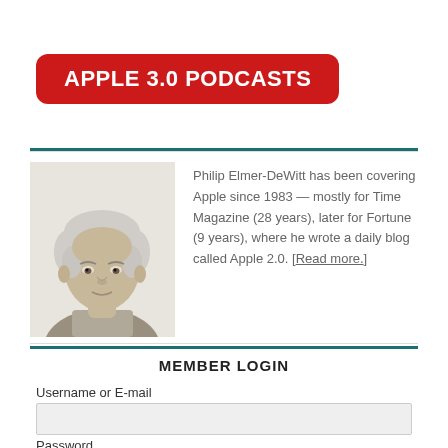APPLE 3.0 PODCASTS
[Figure (photo): Headshot of Philip Elmer-DeWitt, an older man with white/gray hair, wearing a light colored shirt, photographed against a white background.]
Philip Elmer-DeWitt has been covering Apple since 1983 — mostly for Time Magazine (28 years), later for Fortune (9 years), where he wrote a daily blog called Apple 2.0. [Read more.]
MEMBER LOGIN
Username or E-mail
Password